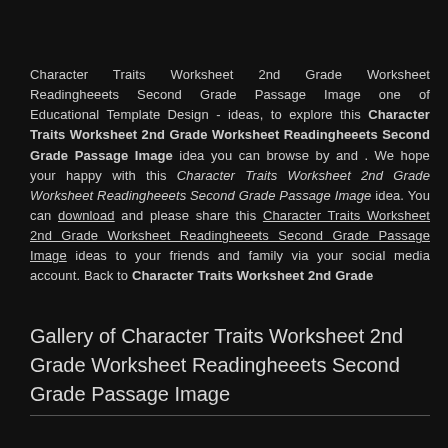Character Traits Worksheet 2nd Grade Worksheet Readingheeets Second Grade Passage Image one of Educational Template Design - ideas, to explore this Character Traits Worksheet 2nd Grade Worksheet Readingheeets Second Grade Passage Image idea you can browse by and . We hope your happy with this Character Traits Worksheet 2nd Grade Worksheet Readingheeets Second Grade Passage Image idea. You can download and please share this Character Traits Worksheet 2nd Grade Worksheet Readingheeets Second Grade Passage Image ideas to your friends and family via your social media account. Back to Character Traits Worksheet 2nd Grade
Gallery of Character Traits Worksheet 2nd Grade Worksheet Readingheeets Second Grade Passage Image